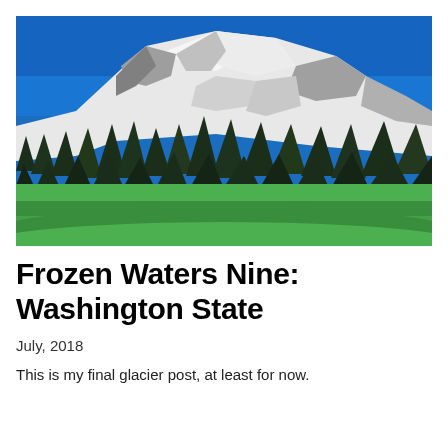[Figure (photo): Photograph of a snow-capped mountain (Mount Rainier) with a bright blue sky, glacier-covered peak, rocky cliffs, evergreen trees in the midground, and green meadows in the foreground.]
Frozen Waters Nine: Washington State
July, 2018
This is my final glacier post, at least for now.